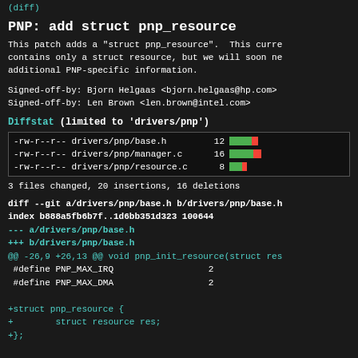(diff)
PNP: add struct pnp_resource
This patch adds a "struct pnp_resource".  This curre contains only a struct resource, but we will soon ne additional PNP-specific information.
Signed-off-by: Bjorn Helgaas <bjorn.helgaas@hp.com>
Signed-off-by: Len Brown <len.brown@intel.com>
Diffstat (limited to 'drivers/pnp')
| permissions | file | count | bar |
| --- | --- | --- | --- |
| -rw-r--r-- | drivers/pnp/base.h | 12 | ████░ |
| -rw-r--r-- | drivers/pnp/manager.c | 16 | ████░ |
| -rw-r--r-- | drivers/pnp/resource.c | 8 | ██░ |
3 files changed, 20 insertions, 16 deletions
diff --git a/drivers/pnp/base.h b/drivers/pnp/base.h
index b888a5fb6b7f..1d6bb351d323 100644
--- a/drivers/pnp/base.h
+++ b/drivers/pnp/base.h
@@ -26,9 +26,13 @@ void pnp_init_resource(struct res
 #define PNP_MAX_IRQ                    2
 #define PNP_MAX_DMA                    2

+struct pnp_resource {
+        struct resource res;
+};